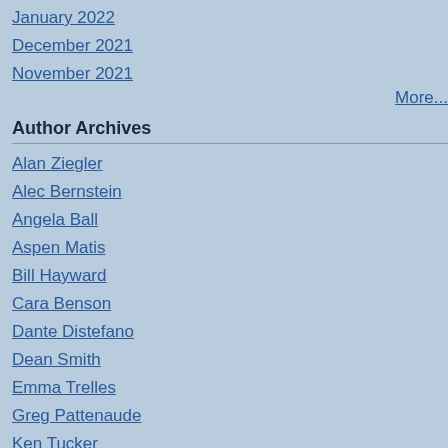January 2022
December 2021
November 2021
More...
Author Archives
Alan Ziegler
Alec Bernstein
Angela Ball
Aspen Matis
Bill Hayward
Cara Benson
Dante Distefano
Dean Smith
Emma Trelles
Greg Pattenaude
Ken Tucker
Kristina Marie Darling
Laura Orem
Comment below or sign in with
(You can use HTML tags like <b> <i> and <ul> t
Your Information
(Name and email address are re
Name
Email Address
Web Site URL
Post  Preview